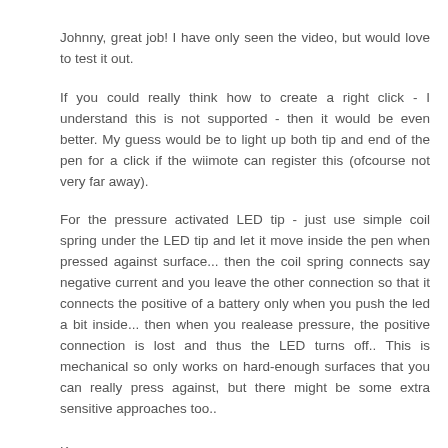Johnny, great job! I have only seen the video, but would love to test it out.
If you could really think how to create a right click - I understand this is not supported - then it would be even better. My guess would be to light up both tip and end of the pen for a click if the wiimote can register this (ofcourse not very far away).
For the pressure activated LED tip - just use simple coil spring under the LED tip and let it move inside the pen when pressed against surface... then the coil spring connects say negative current and you leave the other connection so that it connects the positive of a battery only when you push the led a bit inside... then when you realease pressure, the positive connection is lost and thus the LED turns off.. This is mechanical so only works on hard-enough surfaces that you can really press against, but there might be some extra sensitive approaches too..
K